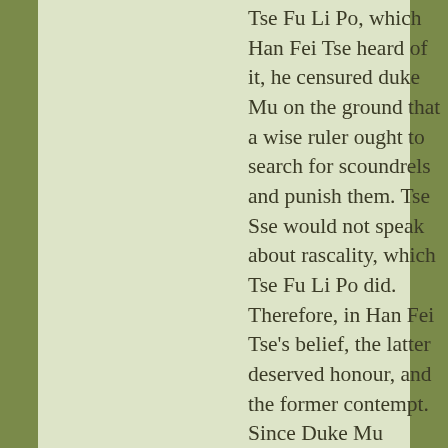Tse Fu Li Po, which Han Fei Tse heard of it, he censured duke Mu on the ground that a wise ruler ought to search for scoundrels and punish them. Tse Sse would not speak about rascality, which Tse Fu Li Po did. Therefore, in Han Fei Tse's belief, the latter deserved honour, and the former contempt. Since Duke Mu esteemed Tse Sse and despised Tse Fu Li Po, he did not